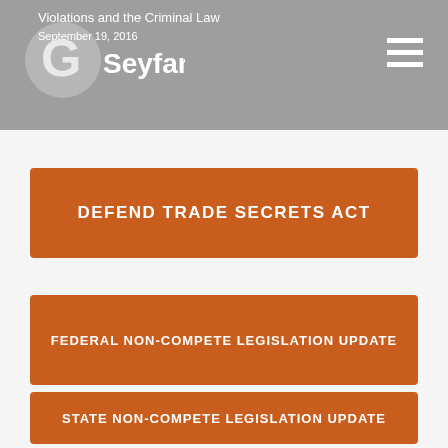Violations and the Criminal Law
September 19, 2016
DEFEND TRADE SECRETS ACT
FEDERAL NON-COMPETE LEGISLATION UPDATE
STATE NON-COMPETE LEGISLATION UPDATE